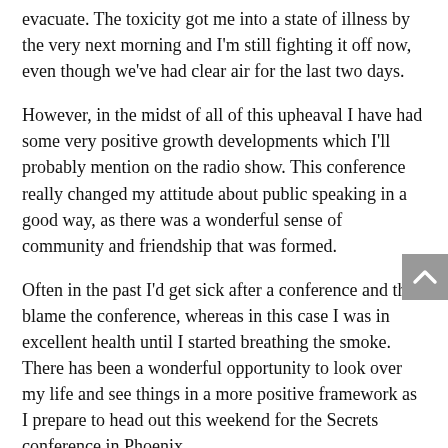evacuate. The toxicity got me into a state of illness by the very next morning and I'm still fighting it off now, even though we've had clear air for the last two days.
However, in the midst of all of this upheaval I have had some very positive growth developments which I'll probably mention on the radio show. This conference really changed my attitude about public speaking in a good way, as there was a wonderful sense of community and friendship that was formed.
Often in the past I'd get sick after a conference and then blame the conference, whereas in this case I was in excellent health until I started breathing the smoke. There has been a wonderful opportunity to look over my life and see things in a more positive framework as I prepare to head out this weekend for the Secrets conference in Phoenix.
I had an important dream about President-elect Obama this morning. It's the longest 'conversation' I've had with whatever aspect represents him in the dream plane, and I learned some interesting new points I'll share tomorrow.